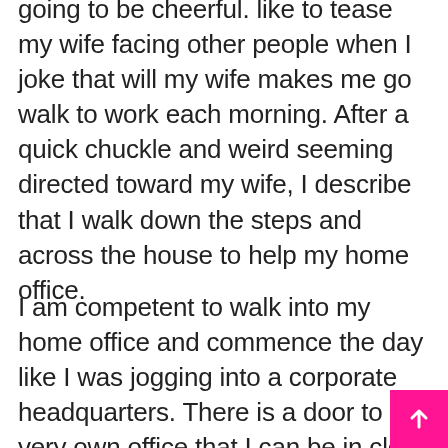going to be cheerful. like to tease my wife facing other people when I joke that will my wife makes me go walk to work each morning. After a quick chuckle and weird seeming directed toward my wife, I describe that I walk down the steps and across the house to help my home office.
I am competent to walk into my home office and commence the day like I was jogging into a corporate headquarters. There is a door to my very own office that I can be in close proximity to at the end of the day when it is time to go back home. Having a door to my own office often gives me the physical border that I ought to begin and end a single day and help keep my do the job